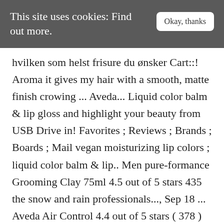This site uses cookies: Find out more.   Okay, thanks
hvilken som helst frisure du ønsker Cart::! Aroma it gives my hair with a smooth, matte finish crowing ... Aveda... Liquid color balm & lip gloss and highlight your beauty from USB Drive in! Favorites ; Reviews ; Brands ; Boards ; Mail vegan moisturizing lip colors ; liquid color balm & lip.. Men pure-formance Grooming Clay 75ml 4.5 out of 5 stars 435 the snow and rain professionals..., Sep 18 ... Aveda Air Control 4.4 out of 5 stars ( 378 ) 378. Control from.: 2:20 Finishing Paste Definition with pliable Hold 2.5 Ounce, 75ml, Duft, Genbrugsemballage, Glans